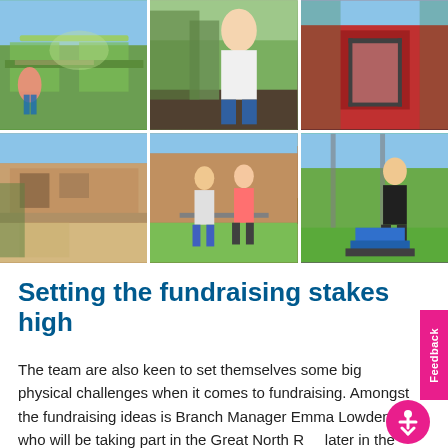[Figure (photo): A 2x3 grid of six photos showing people working in community gardens and outdoor spaces. Top row: person in greenhouse/raised bed garden, person standing in garden with plants, red building entrance. Bottom row: exterior of brick building with garden, two people jumping/celebrating in garden, person with lawnmower in garden.]
Setting the fundraising stakes high
The team are also keen to set themselves some big physical challenges when it comes to fundraising. Amongst the fundraising ideas is Branch Manager Emma Lowden who will be taking part in the Great North Run later in the year for the first time, having taken up run...